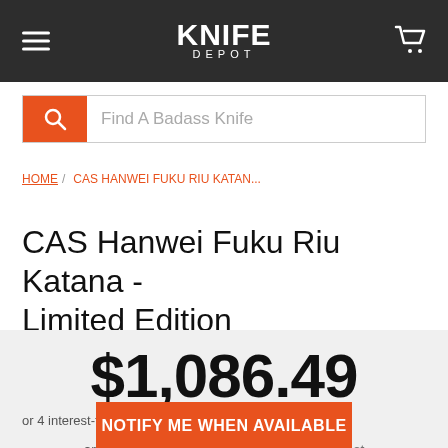Knife Depot
Find A Badass Knife
HOME / CAS HANWEI FUKU RIU KATAN...
CAS Hanwei Fuku Riu Katana - Limited Edition
$1,086.49
Eligible for FREE Shipping
or 4 interest-free payments of $271.62 with Sezzle
NOTIFY ME WHEN AVAILABLE